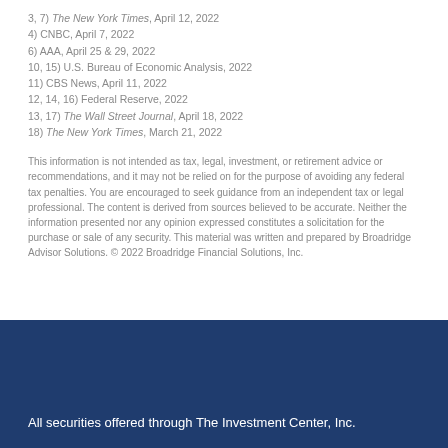3, 7) The New York Times, April 12, 2022
4) CNBC, April 7, 2022
6) AAA, April 25 & 29, 2022
10, 15) U.S. Bureau of Economic Analysis, 2022
11) CBS News, April 11, 2022
12, 14, 16) Federal Reserve, 2022
13, 17) The Wall Street Journal, April 18, 2022
18) The New York Times, March 21, 2022
This information is not intended as tax, legal, investment, or retirement advice or recommendations, and it may not be relied on for the purpose of avoiding any federal tax penalties. You are encouraged to seek guidance from an independent tax or legal professional. The content is derived from sources believed to be accurate. Neither the information presented nor any opinion expressed constitutes a solicitation for the purchase or sale of any security. This material was written and prepared by Broadridge Advisor Solutions. © 2022 Broadridge Financial Solutions, Inc.
All securities offered through The Investment Center, Inc.